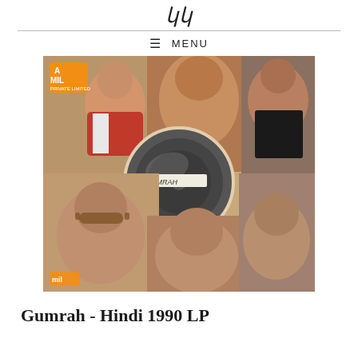MENU
[Figure (photo): Album cover for Gumrah Hindi 1990 LP record. Shows a collage of five male Bollywood actors' faces arranged around a central image of a vinyl record. The MIL label logo appears in the top left and bottom left corners. A handwritten label 'GUMRAH' is visible on the record in the center. The actors are wearing 1980s/1990s Indian film style clothing.]
Gumrah - Hindi 1990 LP